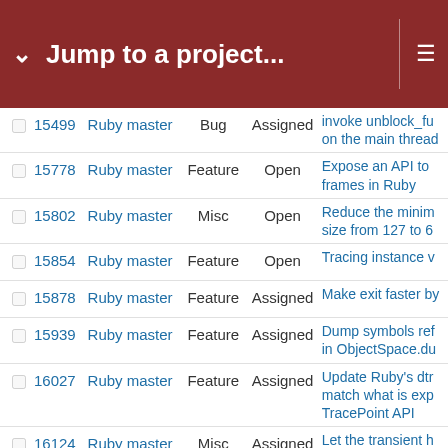Jump to a project...
|  | # | Project | Type | Status | Subject |
| --- | --- | --- | --- | --- | --- |
|  | 15499 | Ruby master | Bug | Assigned | invoke unblock_fu on the main thread |
|  | 15778 | Ruby master | Feature | Open | Expose an API to frames in Ruby |
|  | 15802 | Ruby master | Misc | Open | Reduce the minim size from 127 to 6 |
|  | 15854 | Ruby master | Feature | Open | Tracing instance v |
|  | 15878 | Ruby master | Feature | Assigned | Make exit faster by |
|  | 15939 | Ruby master | Feature | Assigned | Dump symbols ref in ObjectSpace.du |
|  | 16027 | Ruby master | Feature | Assigned | Update Ruby's dtr match what is exp TracePoint API |
|  | 16124 | Ruby master | Misc | Assigned | Let the transient h objspace |
|  | 16776 | Ruby master | Bug | Assigned | Regression in cov |
|  | 16819 | Ruby master | Bug | Assigned | Line reporting off b reporting line of a |
|  | ... | ... | ... | ... | Segmentation Fau |